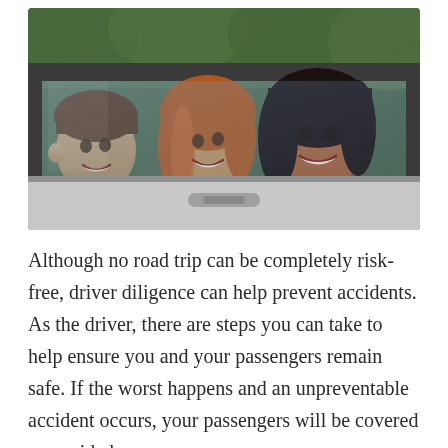[Figure (photo): Three young people smiling inside a car, viewed through the car window. A young man with short hair on the left, a woman with auburn/red hair in the middle, and a woman with long dark hair on the right looking toward camera. Car interior visible, green trees in background.]
Although no road trip can be completely risk-free, driver diligence can help prevent accidents. As the driver, there are steps you can take to help ensure you and your passengers remain safe. If the worst happens and an unpreventable accident occurs, your passengers will be covered – provided you